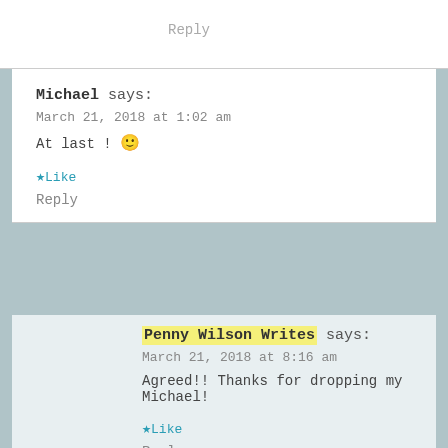Reply
Michael says:
March 21, 2018 at 1:02 am
At last ! 🙂
★ Like
Reply
Penny Wilson Writes says:
March 21, 2018 at 8:16 am
Agreed!! Thanks for dropping my Michael!
★ Like
Reply